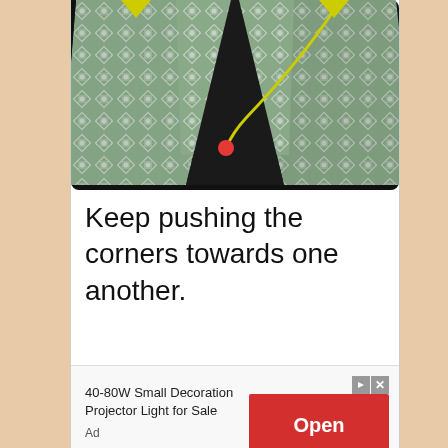[Figure (illustration): An origami folding step showing a patterned fabric/paper (green diamond/flower pattern) being folded with corners pushed toward each other on a dark background. A yellow curved arrow indicates motion direction, and a red dot marks the fold point. Yellow arrows at top corners indicate pushing direction.]
Keep pushing the corners towards one another.
40-80W Small Decoration Projector Light for Sale
Ad
Open